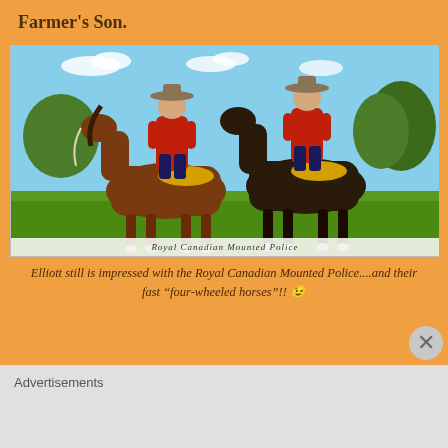Farmer's Son.
[Figure (photo): Vintage postcard photograph of two Royal Canadian Mounted Police officers on horseback in red uniforms with wide-brimmed hats, on a grassy field with trees in background. Caption reads 'Royal Canadian Mounted Police']
Elliott still is impressed with the Royal Canadian Mounted Police....and their fast “four-wheeled horses”!! 😉
Advertisements